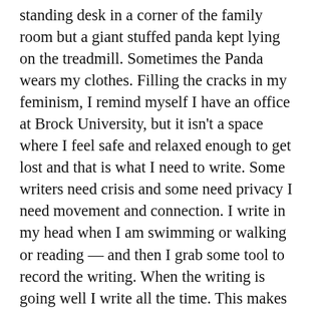standing desk in a corner of the family room but a giant stuffed panda kept lying on the treadmill. Sometimes the Panda wears my clothes. Filling the cracks in my feminism, I remind myself I have an office at Brock University, but it isn't a space where I feel safe and relaxed enough to get lost and that is what I need to write. Some writers need crisis and some need privacy I need movement and connection. I write in my head when I am swimming or walking or reading — and then I grab some tool to record the writing. When the writing is going well I write all the time. This makes me a very annoying person to watch a movie beside. To write I have to first put stuff in — it's input input input output. So, when writing my feminist Western I would get up and watch a Western film and record the